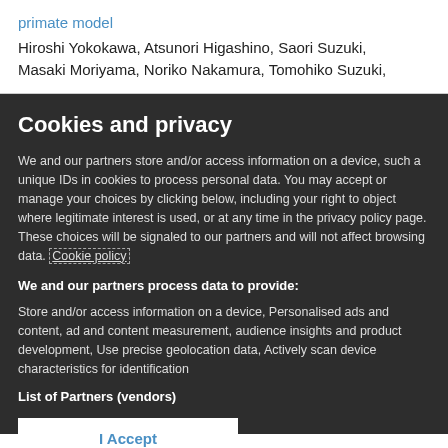primate model
Hiroshi Yokokawa, Atsunori Higashino, Saori Suzuki, Masaki Moriyama, Noriko Nakamura, Tomohiko Suzuki,
Cookies and privacy
We and our partners store and/or access information on a device, such a unique IDs in cookies to process personal data. You may accept or manage your choices by clicking below, including your right to object where legitimate interest is used, or at any time in the privacy policy page. These choices will be signaled to our partners and will not affect browsing data. Cookie policy
We and our partners process data to provide:
Store and/or access information on a device, Personalised ads and content, ad and content measurement, audience insights and product development, Use precise geolocation data, Actively scan device characteristics for identification
List of Partners (vendors)
I Accept